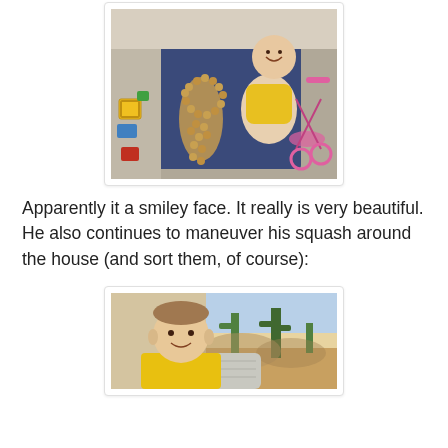[Figure (photo): A young boy sitting on a blue rug on the floor, surrounded by toys. In front of him is a large arrangement of coins/wooden discs laid out in a smiley face shape. To the left are colorful building block toys, and to the right is a pink toy bicycle/tricycle.]
Apparently it a smiley face. It really is very beautiful. He also continues to maneuver his squash around the house (and sort them, of course):
[Figure (photo): A young boy smiling at the camera, wearing a yellow shirt. Behind him is a colorful desert cactus scene artwork/tapestry, and there appears to be a knitted or crocheted item in front of him.]